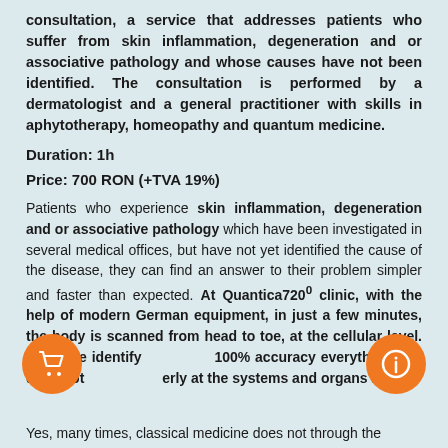consultation, a service that addresses patients who suffer from skin inflammation, degeneration and or associative pathology and whose causes have not been identified. The consultation is performed by a dermatologist and a general practitioner with skills in aphytotherapy, homeopathy and quantum medicine.
Duration: 1h
Price: 700 RON (+TVA 19%)
Patients who experience skin inflammation, degeneration and or associative pathology which have been investigated in several medical offices, but have not yet identified the cause of the disease, they can find an answer to their problem simpler and faster than expected. At Quantica720⁰ clinic, with the help of modern German equipment, in just a few minutes, the body is scanned from head to toe, at the cellular level. Thus, we identify 100% accuracy everything that does not erly at the systems and organs level.
Yes, many times, classical medicine does not through the